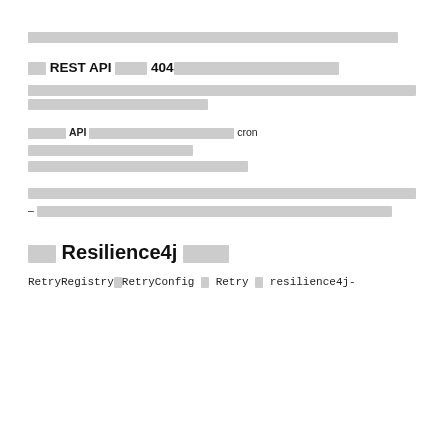[redacted text block - first paragraph]
□□ REST API □□□□□ 404□□□□□□□□□□□□□□□□□□□
[redacted text block - paragraph about REST API 404]
□□□□□ API □□□□□□□□□□□□□□□□□□□ cron □□□□□□□□□□□□□□□□□□□□□□□□□□□□□□□□□□□□□□□□□□
[redacted text block - paragraph with em dash]
□□ Resilience4j □□□□
RetryRegistry□RetryConfig □ Retry □ resilience4j-